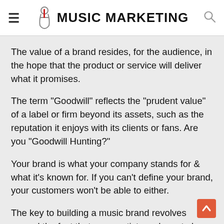MUSIC MARKETING
The value of a brand resides, for the audience, in the hope that the product or service will deliver what it promises.
The term "Goodwill" reflects the "prudent value" of a label or firm beyond its assets, such as the reputation it enjoys with its clients or fans. Are you "Goodwill Hunting?"
Your brand is what your company stands for & what it's known for. If you can't define your brand, your customers won't be able to either.
The key to building a music brand revolves around the fact that as an artist you have to be able to convey your story and the philosophy behind your music. Let your fans take a